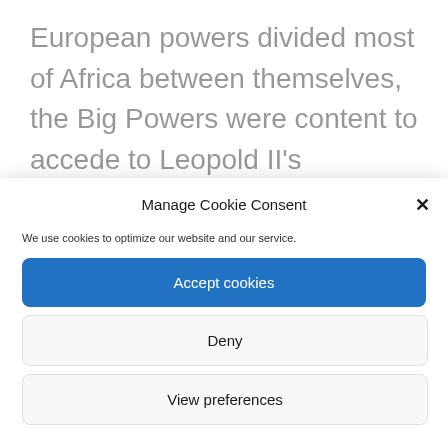European powers divided most of Africa between themselves, the Big Powers were content to accede to Leopold II's request.  They were pleased that the Belgian king was willing to undertake the awesome responsibility of civilizing and developing such a vast land, while opening the county to all:
Manage Cookie Consent
We use cookies to optimize our website and our service.
Accept cookies
Deny
View preferences